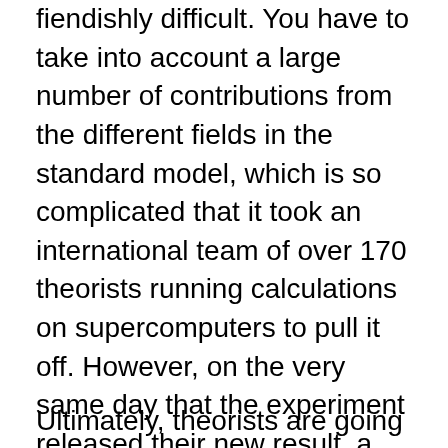fiendishly difficult. You have to take into account a large number of contributions from the different fields in the standard model, which is so complicated that it took an international team of over 170 theorists running calculations on supercomputers to pull it off. However, on the very same day that the experiment released their new result, a rival team published their own theoretical prediction that is much closer to the experimental measurement. If they're right, then there's no anomaly to explain at all and it's all been a big fuss about nothing.
Ultimately, theorists are going to have to slug